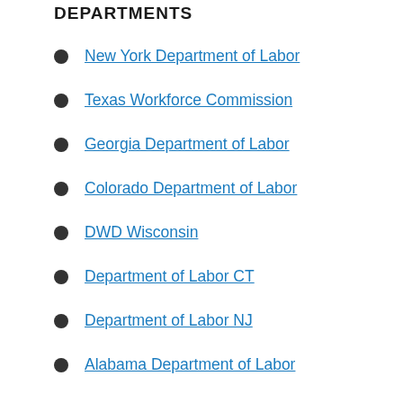DEPARTMENTS
New York Department of Labor
Texas Workforce Commission
Georgia Department of Labor
Colorado Department of Labor
DWD Wisconsin
Department of Labor CT
Department of Labor NJ
Alabama Department of Labor